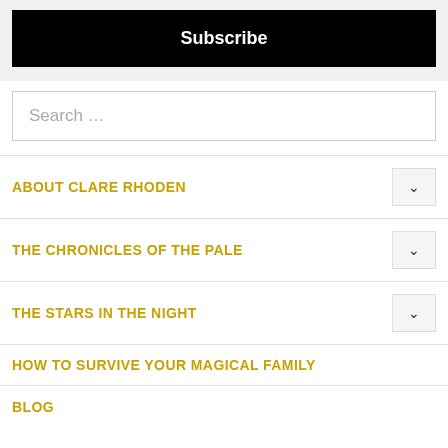Subscribe
Search ...
ABOUT CLARE RHODEN
THE CHRONICLES OF THE PALE
THE STARS IN THE NIGHT
HOW TO SURVIVE YOUR MAGICAL FAMILY
BLOG